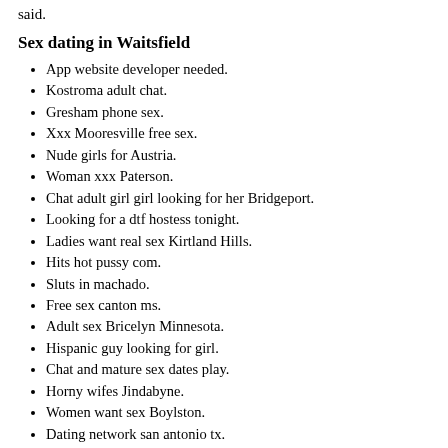said.
Sex dating in Waitsfield
App website developer needed.
Kostroma adult chat.
Gresham phone sex.
Xxx Mooresville free sex.
Nude girls for Austria.
Woman xxx Paterson.
Chat adult girl girl looking for her Bridgeport.
Looking for a dtf hostess tonight.
Ladies want real sex Kirtland Hills.
Hits hot pussy com.
Sluts in machado.
Free sex canton ms.
Adult sex Bricelyn Minnesota.
Hispanic guy looking for girl.
Chat and mature sex dates play.
Horny wifes Jindabyne.
Women want sex Boylston.
Dating network san antonio tx.
Newport fuck buddy erotica.
Sex dating in Tappahannock.
Gran sex Knoxville Tennessee free.